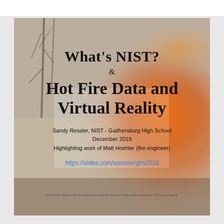[Figure (photo): Slide presentation cover page with fire/forest background image. Contains title text, author information, and a URL link overlaid on the background.]
What's NIST?
&
Hot Fire Data and Virtual Reality
Sandy Ressler, NIST - Gaithersburg High School
December 2019
Highlighting work of Matt Hoehler (fire engineer)
https://slides.com/sressler/ghs2019
Disclaimer: Mention of any commercial products does not imply endorsement by NIST or the author.